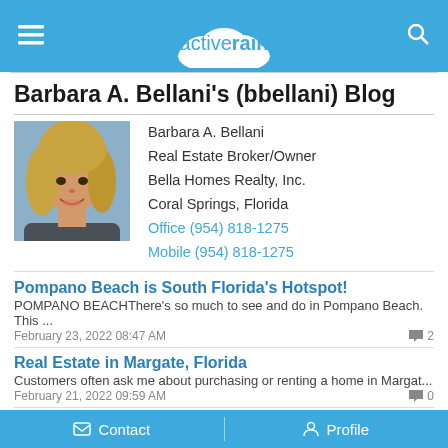activerain
Barbara A. Bellani's (bbellani) Blog
[Figure (photo): Profile photo of Barbara A. Bellani, a woman with blonde hair smiling]
Barbara A. Bellani
Real Estate Broker/Owner
Bella Homes Realty, Inc.
Coral Springs, Florida
Office (954) 818-1275
Mobile (954) 818-1275
Pompano Beach is South Florida's Hotspot!
POMPANO BEACHThere's so much to see and do in Pompano Beach.  This ...
February 23, 2022 08:47 AM
Real Estate in Margate, Florida
Customers often ask me about purchasing or renting a home in Margat...
February 21, 2022 09:59 AM
Select a Realtor that you feel comfortable with...
Today I was thinking about all of the marvelous relationships I've
Contact   Profile